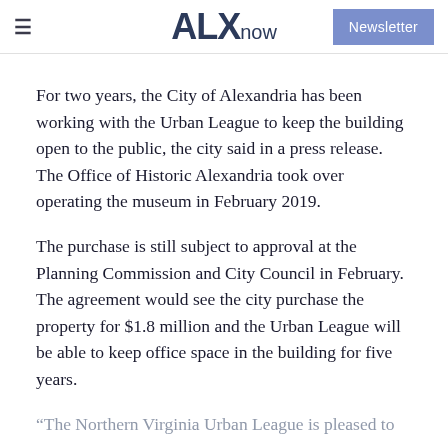ALXnow | Newsletter
For two years, the City of Alexandria has been working with the Urban League to keep the building open to the public, the city said in a press release. The Office of Historic Alexandria took over operating the museum in February 2019.
The purchase is still subject to approval at the Planning Commission and City Council in February. The agreement would see the city purchase the property for $1.8 million and the Urban League will be able to keep office space in the building for five years.
“The Northern Virginia Urban League is pleased to